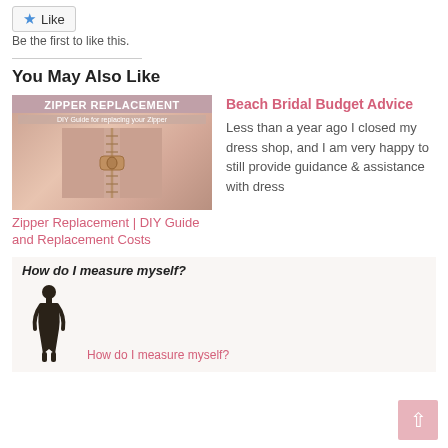[Figure (other): Like button with blue star icon]
Be the first to like this.
You May Also Like
[Figure (photo): Zipper replacement DIY guide image showing a close-up of a gold/rose zipper on fabric with overlay text 'ZIPPER REPLACEMENT' and 'DIY Guide for replacing your Zipper']
Zipper Replacement | DIY Guide and Replacement Costs
Beach Bridal Budget Advice
Less than a year ago I closed my dress shop, and I am very happy to still provide guidance & assistance with dress
[Figure (other): Promotional card with text 'How do I measure myself?' and a silhouette of a female figure]
How do I measure myself?